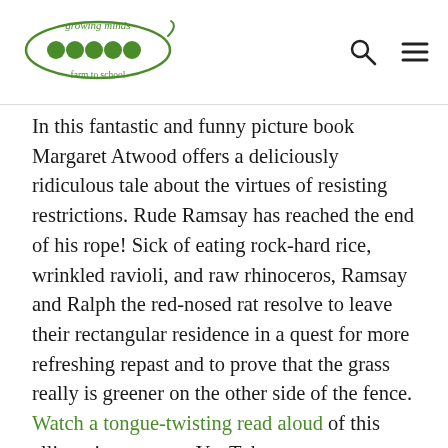growing minds farm to school [logo with pea pod illustration] [search icon] [menu icon]
In this fantastic and funny picture book Margaret Atwood offers a deliciously ridiculous tale about the virtues of resisting restrictions. Rude Ramsay has reached the end of his rope! Sick of eating rock-hard rice, wrinkled ravioli, and raw rhinoceros, Ramsay and Ralph the red-nosed rat resolve to leave their rectangular residence in a quest for more refreshing repast and to prove that the grass really is greener on the other side of the fence. Watch a tongue-twisting read aloud of this alliterative story on YouTube.